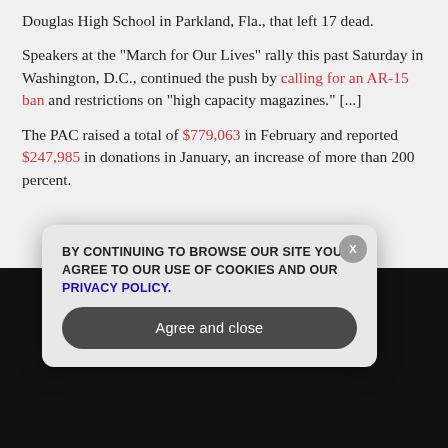Douglas High School in Parkland, Fla., that left 17 dead.
Speakers at the "March for Our Lives" rally this past Saturday in Washington, D.C., continued the push by calling for an AR-15 ban and restrictions on "high capacity magazines." [...]
The PAC raised a total of $779,063 in February and reported $247,985 in donations in January, an increase of more than 200 percent.
GET THE WORLD'S BEST INDEPENDENT MEDIA NEWSLETTER DELIVERED STRAIGHT TO YOUR INBOX.
Enter Your Email Address
SUBSCRIBE
BY CONTINUING TO BROWSE OUR SITE YOU AGREE TO OUR USE OF COOKIES AND OUR PRIVACY POLICY.
Agree and close